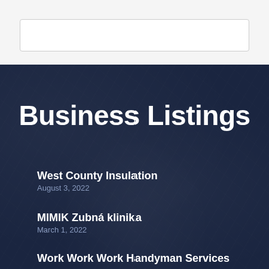[Figure (other): Search box / input field with rounded border on light gray background]
Business Listings
West County Insulation — August 3, 2022
MIMIK Zubná klinika — March 1, 2022
Work Work Work Handyman Services